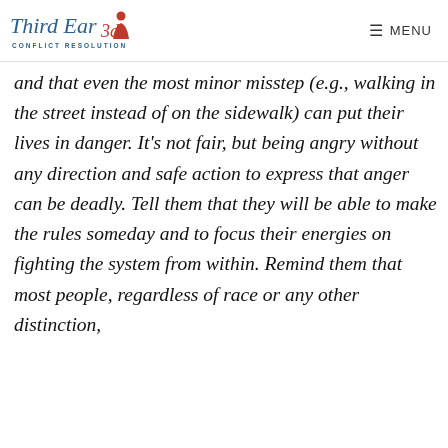Third Ear 3D Conflict Resolution — MENU
and that even the most minor misstep (e.g., walking in the street instead of on the sidewalk) can put their lives in danger. It's not fair, but being angry without any direction and safe action to express that anger can be deadly. Tell them that they will be able to make the rules someday and to focus their energies on fighting the system from within. Remind them that most people, regardless of race or any other distinction,